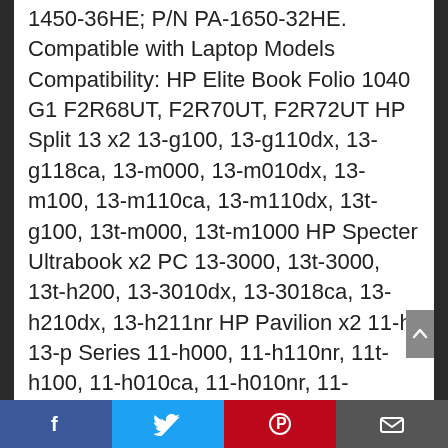1450-36HE; P/N PA-1650-32HE. Compatible with Laptop Models Compatibility: HP Elite Book Folio 1040 G1 F2R68UT, F2R70UT, F2R72UT HP Split 13 x2 13-g100, 13-g110dx, 13-g118ca, 13-m000, 13-m010dx, 13-m100, 13-m110ca, 13-m110dx, 13t-g100, 13t-m000, 13t-m1000 HP Specter Ultrabook x2 PC 13-3000, 13t-3000, 13t-h200, 13-3010dx, 13-3018ca, 13-h210dx, 13-h211nr HP Pavilion x2 11-h, 13-p Series 11-h000, 11-h110nr, 11t-h100, 11-h010ca, 11-h010nr, 11-h013dx, 11t-h000, 13-p110nr, 13-p120nr, 13-p111nr, 13-p113cl, 13-p117cl, 13-p120ca, 13z-p100 HP Pavilion Touch Smart 15-n Series 15-n210us, 15-n220us, 15-n230us
Facebook | Twitter | Pinterest | Email